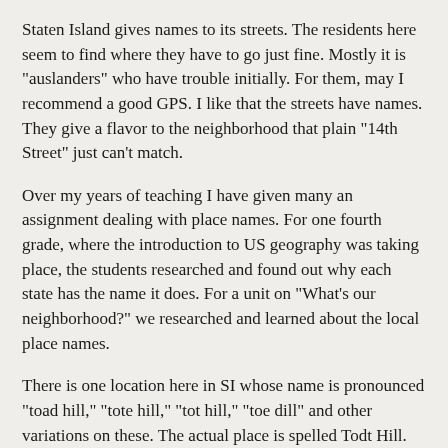Staten Island gives names to its streets. The residents here seem to find where they have to go just fine. Mostly it is "auslanders" who have trouble initially. For them, may I recommend a good GPS. I like that the streets have names. They give a flavor to the neighborhood that plain "14th Street" just can't match.
Over my years of teaching I have given many an assignment dealing with place names. For one fourth grade, where the introduction to US geography was taking place, the students researched and found out why each state has the name it does. For a unit on "What's our neighborhood?" we researched and learned about the local place names.
There is one location here in SI whose name is pronounced "toad hill," "tote hill," "tot hill," "toe dill" and other variations on these. The actual place is spelled Todt Hill. So, who or what is it named for? I got some obvious, top of the head answers, based on the pronunciation. "It must have had a lot of toads on it." "It must be a place where children (tots) play."
What's the answer? "Todt Hill is a small mountain ridge. At 410 feet in height, it is the highest natural point in the five boroughs of